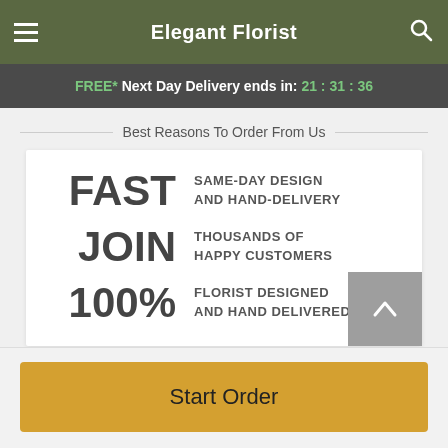Elegant Florist
FREE* Next Day Delivery ends in: 21:31:36
Best Reasons To Order From Us
FAST — SAME-DAY DESIGN AND HAND-DELIVERY
JOIN — THOUSANDS OF HAPPY CUSTOMERS
100% — FLORIST DESIGNED AND HAND DELIVERED
Start Order